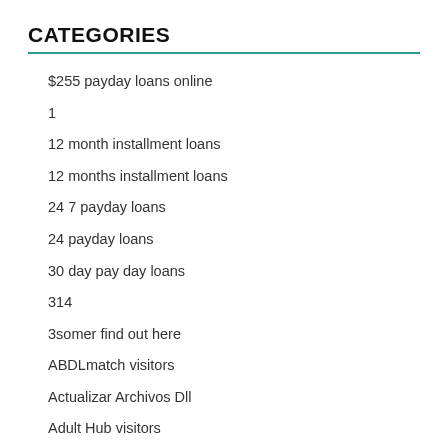CATEGORIES
$255 payday loans online
1
12 month installment loans
12 months installment loans
24 7 payday loans
24 payday loans
30 day pay day loans
314
3somer find out here
ABDLmatch visitors
Actualizar Archivos Dll
Adult Hub visitors
adultfriendfinder dating